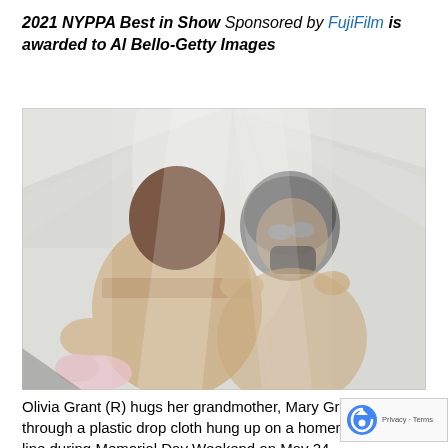2021 NYPPA Best in Show Sponsored by FujiFilm is awarded to Al Bello-Getty Images
[Figure (photo): Two people hugging each other through a transparent plastic drop cloth. One person faces away from camera wearing a tan/beige jacket, and the other person faces toward camera wearing a mask, seen through the plastic sheeting. The background is white/pale plastic sheeting.]
Olivia Grant (R) hugs her grandmother, Mary Grace S through a plastic drop cloth hung up on a homemad clothes line during Memorial Day Weekend on May 24,